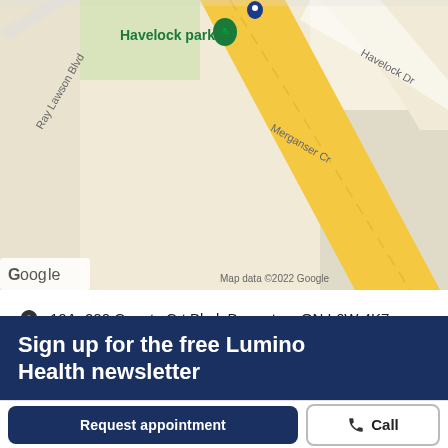[Figure (map): Google Maps screenshot showing Havelock Park area in Brampton, ON. Streets visible include Ray Lawson Blvd, Havelock Dr, Merganser Cr. A yellow road runs diagonally. A blue location pin is visible at the top center. Green Havelock park pin with tree icon visible. Google branding and 'Map data ©2022 Google' attribution shown.]
10A -200 County Crt Blvd, Brampton, ON L6W 4K7
Directions
Visit website
Sign up for the free Lumino Health newsletter
Request appointment
Call